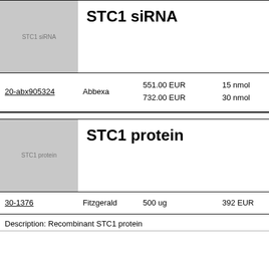[Figure (illustration): Gray placeholder image box labeled 'STC1 siRNA']
STC1 siRNA
| ID | Supplier | Price | Quantity |
| --- | --- | --- | --- |
| 20-abx905324 | Abbexa | 551.00 EUR | 15 nmol |
| 20-abx905324 | Abbexa | 732.00 EUR | 30 nmol |
[Figure (illustration): Gray placeholder image box labeled 'STC1 protein']
STC1 protein
| ID | Supplier | Quantity | Price |
| --- | --- | --- | --- |
| 30-1376 | Fitzgerald | 500 ug | 392 EUR |
Description: Recombinant STC1 protein